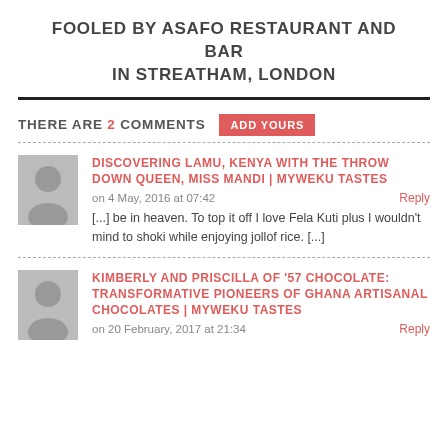FOOLED BY ASAFO RESTAURANT AND BAR IN STREATHAM, LONDON
THERE ARE 2 COMMENTS  ADD YOURS
DISCOVERING LAMU, KENYA WITH THE THROW DOWN QUEEN, MISS MANDI | MYWEKU TASTES
on 4 May, 2016 at 07:42  Reply
[...] be in heaven. To top it off I love Fela Kuti plus I wouldn't mind to shoki while enjoying jollof rice. [...]
KIMBERLY AND PRISCILLA OF '57 CHOCOLATE: TRANSFORMATIVE PIONEERS OF GHANA ARTISANAL CHOCOLATES | MYWEKU TASTES
on 20 February, 2017 at 21:34  Reply